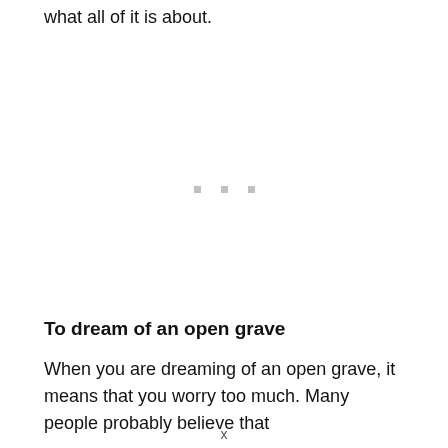what all of it is about.
To dream of an open grave
When you are dreaming of an open grave, it means that you worry too much. Many people probably believe that
x